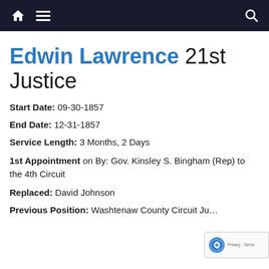Navigation bar with home, menu, and search icons
Edwin Lawrence 21st Justice
Start Date: 09-30-1857
End Date: 12-31-1857
Service Length: 3 Months, 2 Days
1st Appointment on By: Gov. Kinsley S. Bingham (Rep) to the 4th Circuit
Replaced: David Johnson
Previous Position: Washtenaw County Circuit Ju…